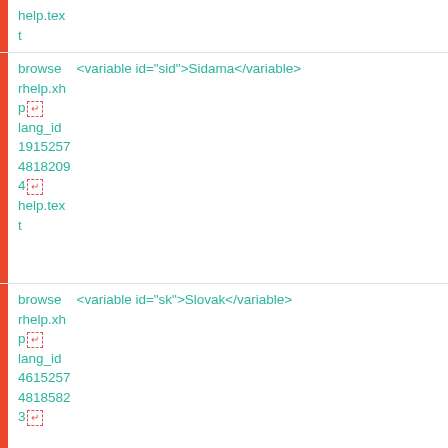help.text
browse   <variable id="sid">Sidama</variable>
rhelp.xhp
lang_id
1915257
48182094
help.text
browse   <variable id="sk">Slovak</variable>
rhelp.xhp
lang_id
4615257
48185823